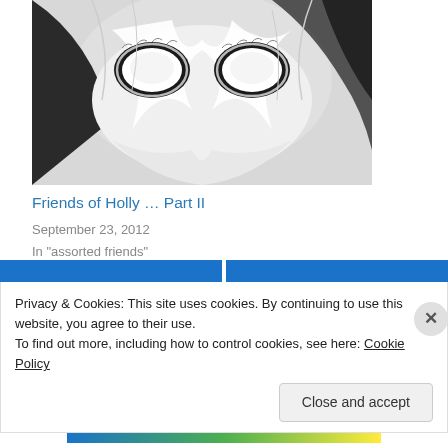[Figure (photo): Close-up photo of a decorative owl mask with white and black feathers and hollow eye openings]
Friends of Holly … Part II
September 23, 2012
In "assorted friends"
March 17, 2014
11 Replies
Privacy & Cookies: This site uses cookies. By continuing to use this website, you agree to their use.
To find out more, including how to control cookies, see here: Cookie Policy
Close and accept